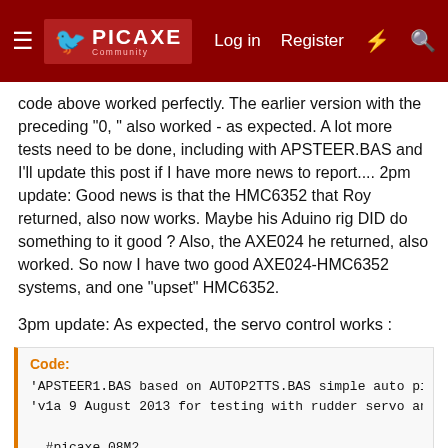PICAXE Community — Log in | Register
code above worked perfectly. The earlier version with the preceding "0, " also worked - as expected. A lot more tests need to be done, including with APSTEER.BAS and I'll update this post if I have more news to report.... 2pm update: Good news is that the HMC6352 that Roy returned, also now works. Maybe his Aduino rig DID do something to it good ? Also, the AXE024 he returned, also worked. So now I have two good AXE024-HMC6352 systems, and one "upset" HMC6352.
3pm update: As expected, the servo control works :
Code:
'APSTEER1.BAS based on AUTOP2TTS.BAS simple auto pilo
'v1a 9 August 2013 for testing with rudder servo and

  #picaxe 08M2
  setfreq M16 'faster clock rate for better SERIN

  symbol CENTRE = 150 'Servo middle position
  symbol THROW = 50